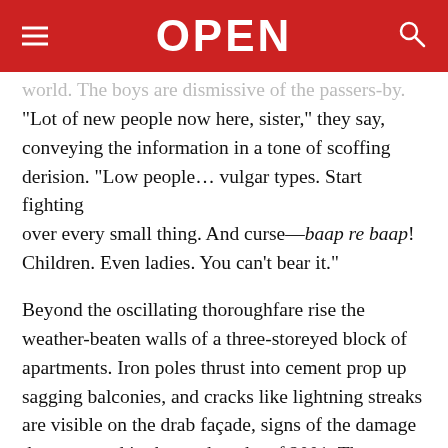OPEN
world. The boys are dismissive of the passers-by. “Lot of new people now here, sister,” they say, conveying the information in a tone of scoffing derision. “Low people… vulgar types. Start fighting over every small thing. And curse—baap re baap! Children. Even ladies. You can’t bear it.”
Beyond the oscillating thoroughfare rise the weather-beaten walls of a three-storeyed block of apartments. Iron poles thrust into cement prop up sagging balconies, and cracks like lightning streaks are visible on the drab façade, signs of the damage that occurred in the earthquake of 2001. The